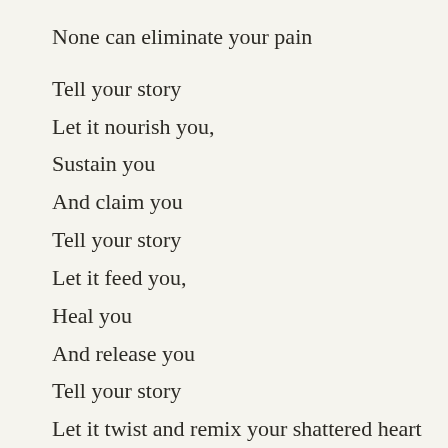None can eliminate your pain

Tell your story
Let it nourish you,
Sustain you
And claim you
Tell your story
Let it feed you,
Heal you
And release you
Tell your story
Let it twist and remix your shattered heart
Tell your story
Until your past stops tearing your present apart